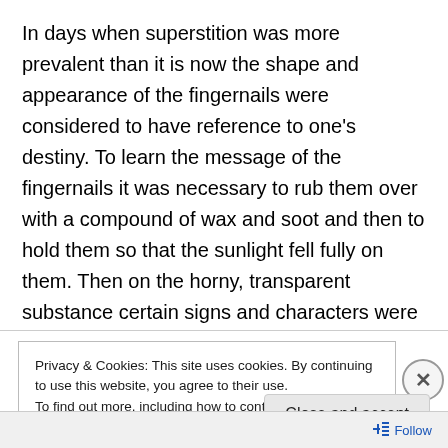In days when superstition was more prevalent than it is now the shape and appearance of the fingernails were considered to have reference to one’s destiny. To learn the message of the fingernails it was necessary to rub them over with a compound of wax and soot and then to hold them so that the sunlight fell fully on them. Then on the horny, transparent substance certain signs and characters were supposed to appear, from which the future could be interpreted. Persons, too, having certain kinds of nail were credited with the possession of certain characteristics. Thus a man with red and spotted nails was supposed to
Privacy & Cookies: This site uses cookies. By continuing to use this website, you agree to their use.
To find out more, including how to control cookies, see here: Cookie Policy